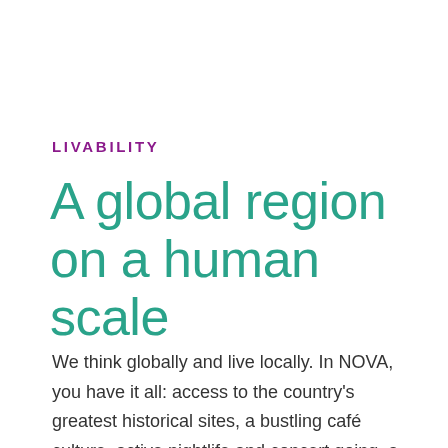LIVABILITY
A global region on a human scale
We think globally and live locally. In NOVA, you have it all: access to the country's greatest historical sites, a bustling café culture, active nightlife and concert going, a thriving wine region,